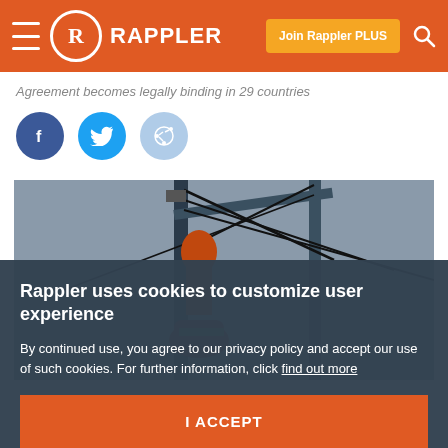Rappler — Join Rappler PLUS
Agreement becomes legally binding in 29 countries
[Figure (illustration): Social sharing buttons: Facebook (dark blue), Twitter (light blue), Reddit (light blue)]
[Figure (photo): Photo of a person climbing a ship mast or crane with rigging ropes against a grey sky]
Rappler uses cookies to customize user experience
By continued use, you agree to our privacy policy and accept our use of such cookies. For further information, click find out more
I ACCEPT